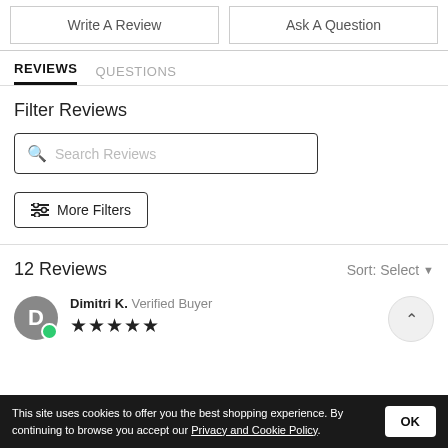Write A Review
Ask A Question
REVIEWS   QUESTIONS
Filter Reviews
Search Reviews
More Filters
12 Reviews   Sort: Select
Dimitri K.  Verified Buyer
This site uses cookies to offer you the best shopping experience. By continuing to browse you accept our Privacy and Cookie Policy.